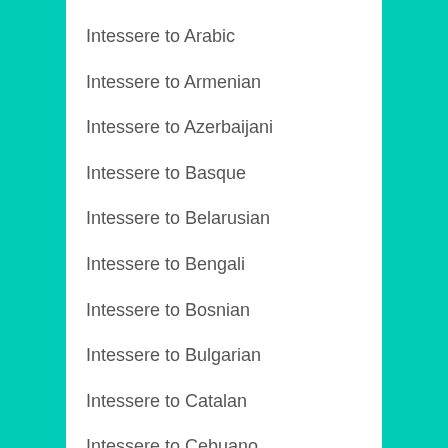Intessere to Arabic
Intessere to Armenian
Intessere to Azerbaijani
Intessere to Basque
Intessere to Belarusian
Intessere to Bengali
Intessere to Bosnian
Intessere to Bulgarian
Intessere to Catalan
Intessere to Cebuano
Intessere to Chichewa
Intessere to Chinese Simplified
Intessere to Chinese Traditional
Intessere to Corsican